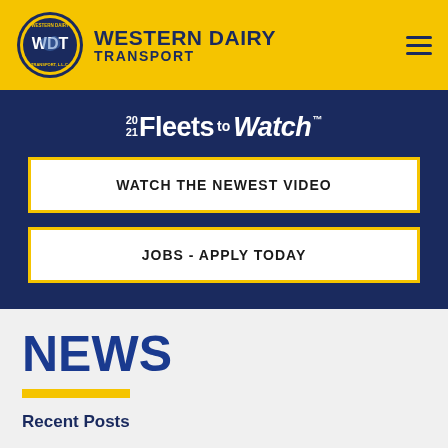WESTERN DAIRY TRANSPORT
[Figure (logo): Western Dairy Transport WDT oval logo with blue and gold colors, and 2021 Fleets to Watch banner]
WATCH THE NEWEST VIDEO
JOBS - APPLY TODAY
NEWS
Recent Posts